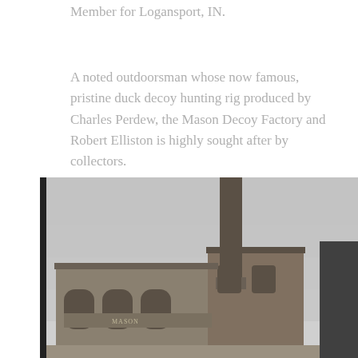Member for Logansport, IN.
A noted outdoorsman whose now famous, pristine duck decoy hunting rig produced by Charles Perdew, the Mason Decoy Factory and Robert Elliston is highly sought after by collectors.
[Figure (photo): Black and white photograph of a historic brick industrial building with a tall chimney/smokestack. The building has ornate arched windows and brick detailing. Signage on the building reads 'MASON' (Mason Decoy Factory). The sky behind is overcast.]